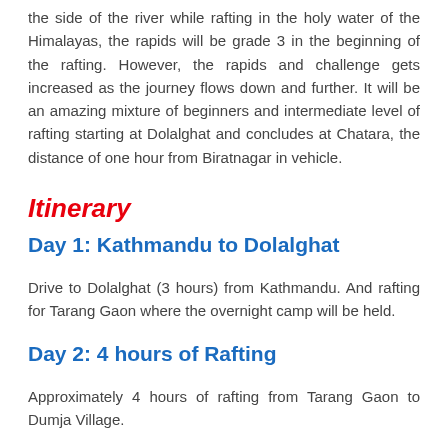the side of the river while rafting in the holy water of the Himalayas, the rapids will be grade 3 in the beginning of the rafting. However, the rapids and challenge gets increased as the journey flows down and further. It will be an amazing mixture of beginners and intermediate level of rafting starting at Dolalghat and concludes at Chatara, the distance of one hour from Biratnagar in vehicle.
Itinerary
Day 1: Kathmandu to Dolalghat
Drive to Dolalghat (3 hours) from Kathmandu. And rafting for Tarang Gaon where the overnight camp will be held.
Day 2: 4 hours of Rafting
Approximately 4 hours of rafting from Tarang Gaon to Dumja Village.
The most remarkable part of the rafting of this day will be Khuei Bhai rapid where you need considerable amount of